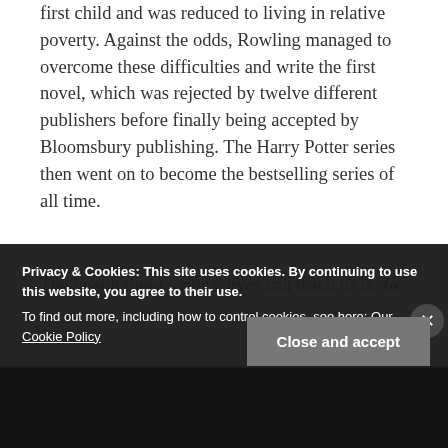first child and was reduced to living in relative poverty. Against the odds, Rowling managed to overcome these difficulties and write the first novel, which was rejected by twelve different publishers before finally being accepted by Bloomsbury publishing. The Harry Potter series then went on to become the bestselling series of all time.
The lesson these writers' lives can teach us is: to
Privacy & Cookies: This site uses cookies. By continuing to use this website, you agree to their use.
To find out more, including how to control cookies, see here: Our Cookie Policy